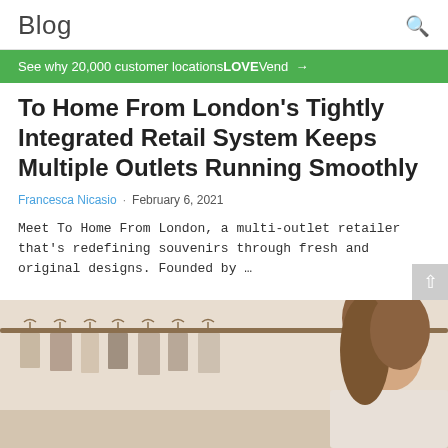Blog
See why 20,000 customer locations LOVE Vend →
To Home From London's Tightly Integrated Retail System Keeps Multiple Outlets Running Smoothly
Francesca Nicasio · February 6, 2021
Meet To Home From London, a multi-outlet retailer that's redefining souvenirs through fresh and original designs. Founded by …
[Figure (photo): Woman looking at clothing hanging on a rack in a retail store]